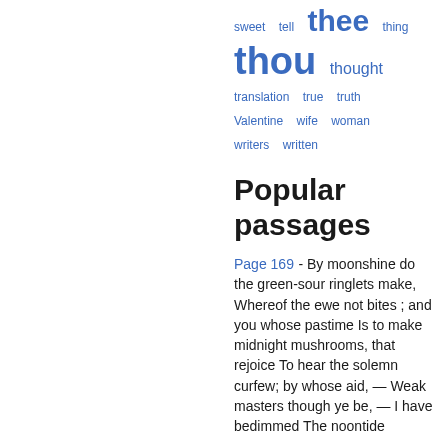[Figure (other): Tag cloud showing words: sweet, tell, thee (large), thing, thou (xlarge), thought, translation, true, truth, Valentine, wife, woman, writers, written — all in blue, varying sizes]
Popular passages
Page 169 - By moonshine do the green-sour ringlets make, Whereof the ewe not bites ; and you whose pastime Is to make midnight mushrooms, that rejoice To hear the solemn curfew; by whose aid, — Weak masters though ye be, — I have bedimmed The noontide...